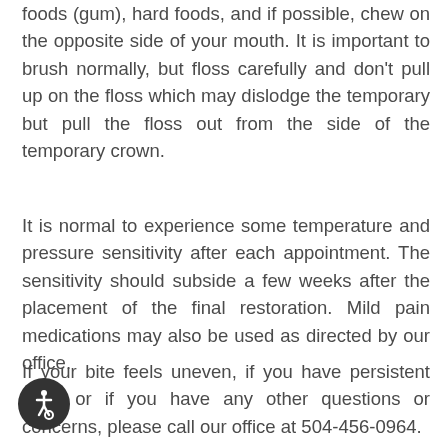foods (gum), hard foods, and if possible, chew on the opposite side of your mouth. It is important to brush normally, but floss carefully and don't pull up on the floss which may dislodge the temporary but pull the floss out from the side of the temporary crown.
It is normal to experience some temperature and pressure sensitivity after each appointment. The sensitivity should subside a few weeks after the placement of the final restoration. Mild pain medications may also be used as directed by our office.
If your bite feels uneven, if you have persistent pain, or if you have any other questions or concerns, please call our office at 504-456-0964.